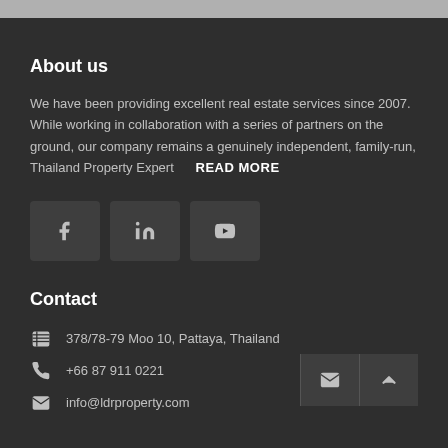About us
We have been providing excellent real estate services since 2007. While working in collaboration with a series of partners on the ground, our company remains a genuinely independent, family-run, Thailand Property Expert    READ MORE
[Figure (infographic): Three social media icon boxes: Facebook (f), LinkedIn (in), YouTube (play button)]
Contact
378/78-79 Moo 10, Pattaya, Thailand
+66 87 911 0221
info@ldrproperty.com